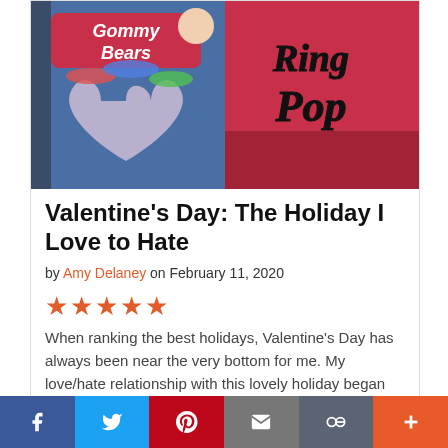[Figure (photo): Photo of candy boxes: Gummy Bears box on the left and Ring Pop box on the right, displayed side by side]
Valentine's Day: The Holiday I Love to Hate
by Amy Delaney on February 11, 2020
★★★★★
When ranking the best holidays, Valentine's Day has always been near the very bottom for me. My love/hate relationship with this lovely holiday began way back in high school. I was never the girl with lots of admirers, so I remember the flowers, cand… Read full article
f  Twitter  Pinterest  Email  Link  +